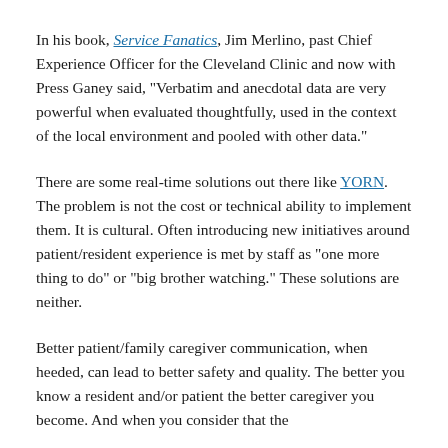In his book, Service Fanatics, Jim Merlino, past Chief Experience Officer for the Cleveland Clinic and now with Press Ganey said, "Verbatim and anecdotal data are very powerful when evaluated thoughtfully, used in the context of the local environment and pooled with other data."
There are some real-time solutions out there like YORN. The problem is not the cost or technical ability to implement them. It is cultural. Often introducing new initiatives around patient/resident experience is met by staff as "one more thing to do" or "big brother watching." These solutions are neither.
Better patient/family caregiver communication, when heeded, can lead to better safety and quality. The better you know a resident and/or patient the better caregiver you become. And when you consider that the